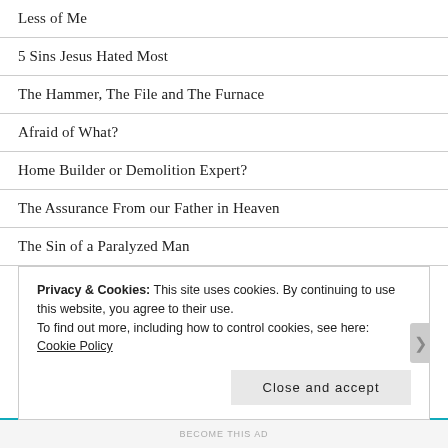Less of Me
5 Sins Jesus Hated Most
The Hammer, The File and The Furnace
Afraid of What?
Home Builder or Demolition Expert?
The Assurance From our Father in Heaven
The Sin of a Paralyzed Man
Testimony of Former Iranian Prisoners Maryam Rostampour and Marziyeh Amirizadeh
Privacy & Cookies: This site uses cookies. By continuing to use this website, you agree to their use. To find out more, including how to control cookies, see here: Cookie Policy
Close and accept